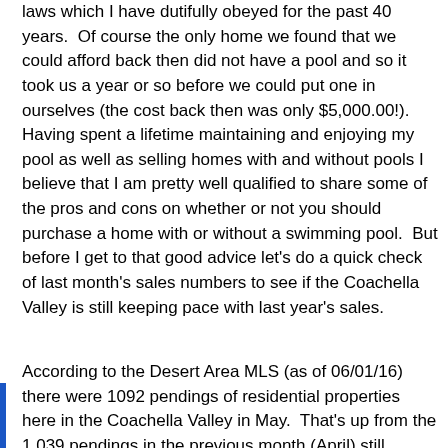laws which I have dutifully obeyed for the past 40 years.  Of course the only home we found that we could afford back then did not have a pool and so it took us a year or so before we could put one in ourselves (the cost back then was only $5,000.00!).  Having spent a lifetime maintaining and enjoying my pool as well as selling homes with and without pools I believe that I am pretty well qualified to share some of the pros and cons on whether or not you should purchase a home with or without a swimming pool.  But before I get to that good advice let's do a quick check of last month's sales numbers to see if the Coachella Valley is still keeping pace with last year's sales.
According to the Desert Area MLS (as of 06/01/16) there were 1092 pendings of residential properties here in the Coachella Valley in May.  That's up from the 1,039 pendings in the previous month (April) still showing good volume and representing a significant increase in terms of activity for May.  In April there were 810 solds and in May we had 854 solds